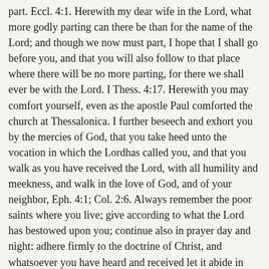part. Eccl. 4:1. Herewith my dear wife in the Lord, what more godly parting can there be than for the name of the Lord; and though we now must part, I hope that I shall go before you, and that you will also follow to that place where there will be no more parting, for there we shall ever be with the Lord. I Thess. 4:17. Herewith you may comfort yourself, even as the apostle Paul comforted the church at Thessalonica. I further beseech and exhort you by the mercies of God, that you take heed unto the vocation in which the Lordhas called you, and that you walk as you have received the Lord, with all humility and meekness, and walk in the love of God, and of your neighbor, Eph. 4:1; Col. 2:6. Always remember the poor saints where you live; give according to what the Lord has bestowed upon you; continue also in prayer day and night: adhere firmly to the doctrine of Christ, and whatsoever you have heard and received let it abide in you; and the God of love and peace shall be with you. II Corinthians 12:11. And remember me as long as I am here; I hope not to forget you as long as I am in this tabernacle, with my prayers to God. Though with my body I am absent from you I am nevertheless present with the spirit and remember you with tears.
Herewith adieu, my dear wife in the Lord, adieu, till we get in the kingdom of God to our heavenly Father. Written with tears by me,